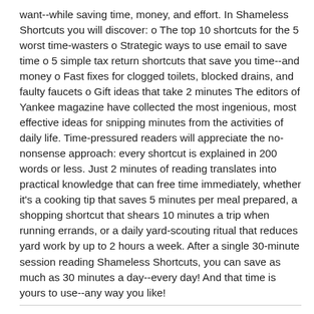want--while saving time, money, and effort. In Shameless Shortcuts you will discover: o The top 10 shortcuts for the 5 worst time-wasters o Strategic ways to use email to save time o 5 simple tax return shortcuts that save you time--and money o Fast fixes for clogged toilets, blocked drains, and faulty faucets o Gift ideas that take 2 minutes The editors of Yankee magazine have collected the most ingenious, most effective ideas for snipping minutes from the activities of daily life. Time-pressured readers will appreciate the no-nonsense approach: every shortcut is explained in 200 words or less. Just 2 minutes of reading translates into practical knowledge that can free time immediately, whether it's a cooking tip that saves 5 minutes per meal prepared, a shopping shortcut that shears 10 minutes a trip when running errands, or a daily yard-scouting ritual that reduces yard work by up to 2 hours a week. After a single 30-minute session reading Shameless Shortcuts, you can save as much as 30 minutes a day--every day! And that time is yours to use--any way you like!